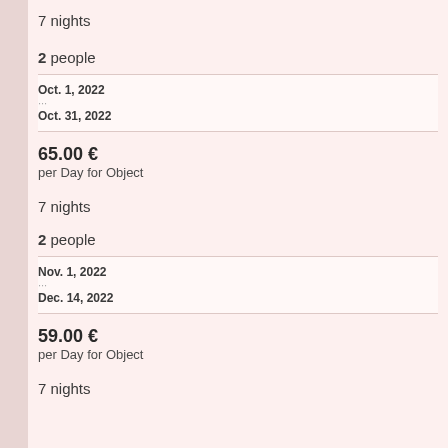7 nights
2 people
Oct. 1, 2022
...
Oct. 31, 2022
65.00 €
per Day for Object
7 nights
2 people
Nov. 1, 2022
...
Dec. 14, 2022
59.00 €
per Day for Object
7 nights